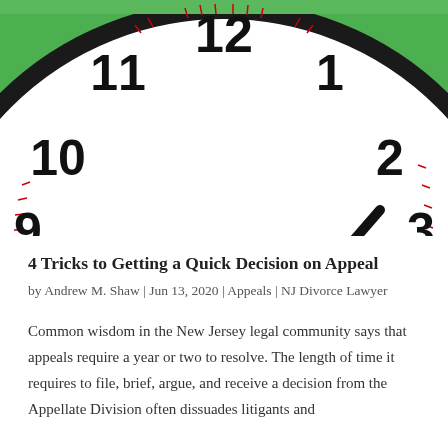[Figure (photo): Close-up photo of an analog clock face with green trim showing the time approximately 2:10. Clock has bold black numbers (9, 10, 11, 12, 1, 2, 3 visible), black hour and minute hands, and a red second hand with red center dot. White clock face with minute and hour tick marks in black and red.]
4 Tricks to Getting a Quick Decision on Appeal
by Andrew M. Shaw | Jun 13, 2020 | Appeals | NJ Divorce Lawyer
Common wisdom in the New Jersey legal community says that appeals require a year or two to resolve. The length of time it requires to file, brief, argue, and receive a decision from the Appellate Division often dissuades litigants and